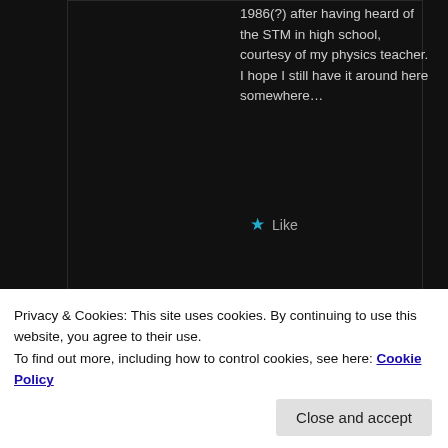1986(?) after having heard of the STM in high school, courtesy of my physics teacher. I hope I still have it around here somewhere...
Like
[Figure (illustration): Green and white geometric/diamond pattern avatar image]
Privacy & Cookies: This site uses cookies. By continuing to use this website, you agree to their use. To find out more, including how to control cookies, see here: Cookie Policy
Close and accept
experience, I am trying to reinvent the wheel and